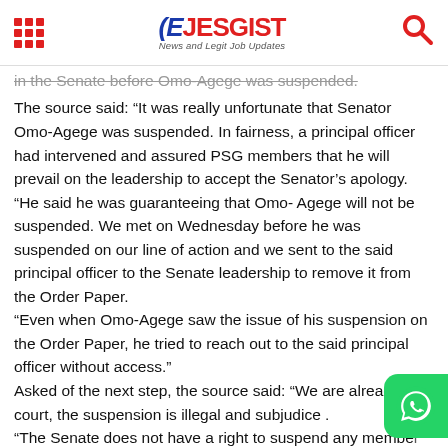EJESGIST News and Legit Job Updates
in the Senate before Omo-Agege was suspended.
The source said: “It was really unfortunate that Senator Omo-Agege was suspended. In fairness, a principal officer had intervened and assured PSG members that he will prevail on the leadership to accept the Senator’s apology. “He said he was guaranteeing that Omo- Agege will not be suspended. We met on Wednesday before he was suspended on our line of action and we sent to the said principal officer to the Senate leadership to remove it from the Order Paper. “Even when Omo-Agege saw the issue of his suspension on the Order Paper, he tried to reach out to the said principal officer without access.” Asked of the next step, the source said: “We are already in court, the suspension is illegal and subjudice . “The Senate does not have a right to suspend any member expressing his views. It is only in the standing order to susp